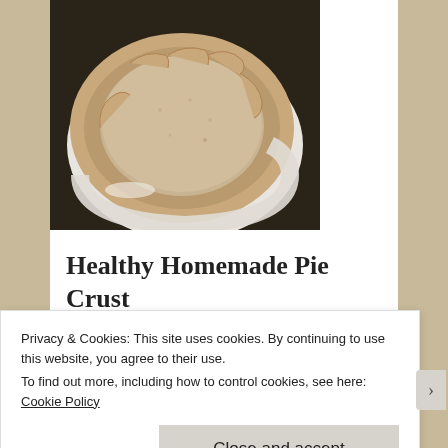[Figure (photo): Top-down photo of a homemade pie with a rustic crimped crust in a white ceramic dish, dusted with flour, on a dark background.]
Healthy Homemade Pie Crust (vegan!)
Are you a flaky pie crust or a graham cracker pie crust kind of person? I'm most certainly a flaky pie crust kind of girl. Sure, a graham cracker crust goes well with Key Lime Pie. But otherwise, why would you ever substitute anything for the buttery, flaky
Privacy & Cookies: This site uses cookies. By continuing to use this website, you agree to their use.
To find out more, including how to control cookies, see here: Cookie Policy
Close and accept